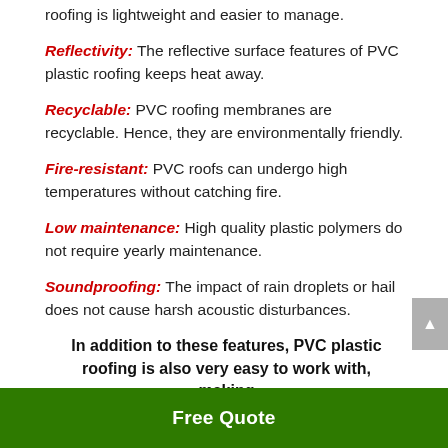roofing is lightweight and easier to manage.
Reflectivity: The reflective surface features of PVC plastic roofing keeps heat away.
Recyclable: PVC roofing membranes are recyclable. Hence, they are environmentally friendly.
Fire-resistant: PVC roofs can undergo high temperatures without catching fire.
Low maintenance: High quality plastic polymers do not require yearly maintenance.
Soundproofing: The impact of rain droplets or hail does not cause harsh acoustic disturbances.
In addition to these features, PVC plastic roofing is also very easy to work with, making
Free Quote